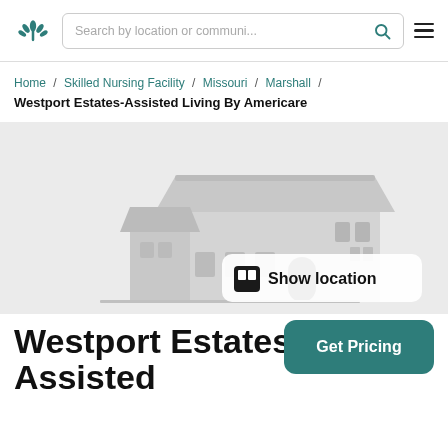Search by location or communi...
Home / Skilled Nursing Facility / Missouri / Marshall / Westport Estates-Assisted Living By Americare
[Figure (illustration): Gray illustration of a building/facility with a 'Show location' button overlay in the center]
Westport Estates-Assisted
Get Pricing